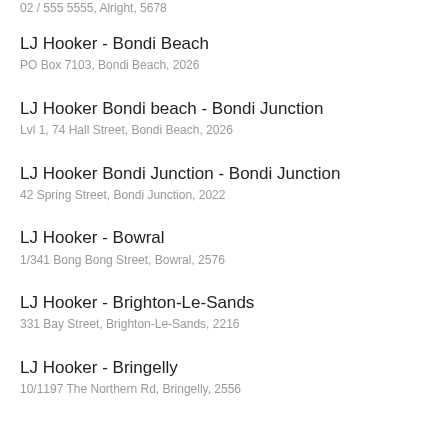LJ Hooker - Bondi Beach
PO Box 7103, Bondi Beach, 2026
LJ Hooker Bondi beach - Bondi Junction
Lvl 1, 74 Hall Street, Bondi Beach, 2026
LJ Hooker Bondi Junction - Bondi Junction
42 Spring Street, Bondi Junction, 2022
LJ Hooker - Bowral
1/341 Bong Bong Street, Bowral, 2576
LJ Hooker - Brighton-Le-Sands
331 Bay Street, Brighton-Le-Sands, 2216
LJ Hooker - Bringelly
10/1197 The Northern Rd, Bringelly, 2556